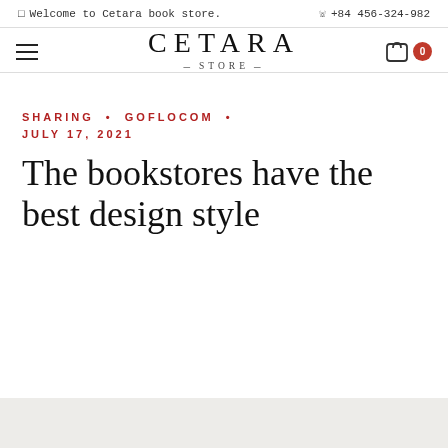☐ Welcome to Cetara book store.   ☏ +84 456-324-982
[Figure (logo): Cetara Store logo with hamburger menu on left and cart icon with badge '0' on right]
SHARING • GOFLOCOM • JULY 17, 2021
The bookstores have the best design style
[Figure (photo): Partial view of a light gray image at the bottom of the page]